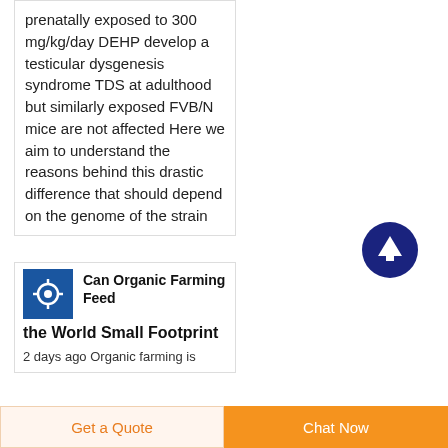prenatally exposed to 300 mg/kg/day DEHP develop a testicular dysgenesis syndrome TDS at adulthood but similarly exposed FVB/N mice are not affected Here we aim to understand the reasons behind this drastic difference that should depend on the genome of the strain
[Figure (other): Dark blue circular button with upward arrow icon (scroll to top button)]
Can Organic Farming Feed the World Small Footprint
2 days ago Organic farming is
Get a Quote
Chat Now